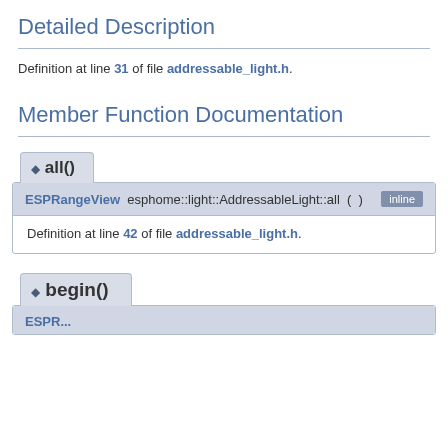Detailed Description
Definition at line 31 of file addressable_light.h.
Member Function Documentation
◆ all()
ESPRangeView esphome::light::AddressableLight::all ( )  inline
Definition at line 42 of file addressable_light.h.
◆ begin()